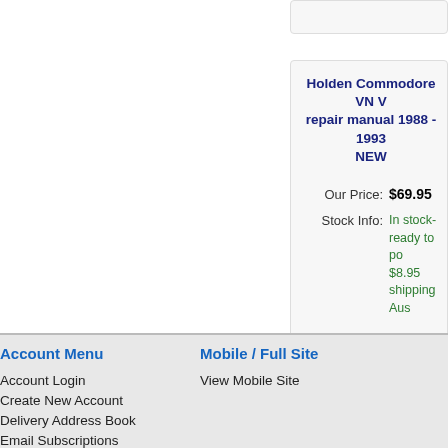Holden Commodore VN V... repair manual 1988 - 1993... NEW
Our Price: $69.95
Stock Info: In stock-ready to post... $8.95 shipping Aus...
Holden Commodore VO... manual 1980 - 198...
Our Price: $89.95
Stock Info: Out Of Sto...
Account Menu
Account Login
Create New Account
Delivery Address Book
Email Subscriptions
Send Contact Message
Mobile / Full Site
View Mobile Site